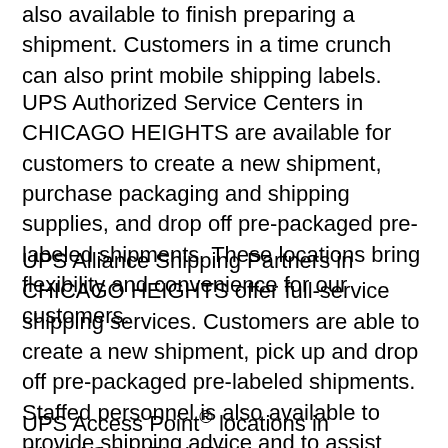also available to finish preparing a shipment. Customers in a time crunch can also print mobile shipping labels.
UPS Authorized Service Centers in CHICAGO HEIGHTS are available for customers to create a new shipment, purchase packaging and shipping supplies, and drop off pre-packaged pre-labeled shipments. These locations bring flexibility and convenience for our customers.
UPS Alliance Shipping Partners in CHICAGO HEIGHTS offer full-service shipping services. Customers are able to create a new shipment, pick up and drop off pre-packaged pre-labeled shipments.  Staffed personnel is also available to provide shipping advice and to assist with picking out the proper packaging and shipping supplies, which are available for purchase.
UPS Access Point® locations in CHICAGO HEIGHTS, IL are very convenient for customers looking for a quick and simple stop in any neighborhood. Drop off pre-packaged.